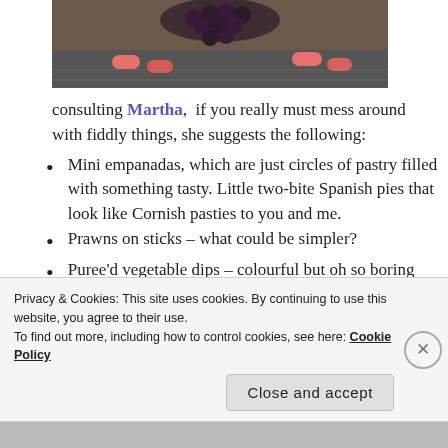[Figure (photo): Partial photo of a plate with dark grapes/berries and pink/red items (possibly strawberries or similar), shot from above on a wooden surface.]
consulting Martha,  if you really must mess around with fiddly things, she suggests the following:
Mini empanadas, which are just circles of pastry filled with something tasty. Little two-bite Spanish pies that look like Cornish pasties to you and me.
Prawns on sticks – what could be simpler?
Puree'd vegetable dips – colourful but oh so boring
bacon wrapped bites – bacon wrapped round things like shrimp, figs, dates, chillis. Really, isn't
Privacy & Cookies: This site uses cookies. By continuing to use this website, you agree to their use.
To find out more, including how to control cookies, see here: Cookie Policy
Close and accept